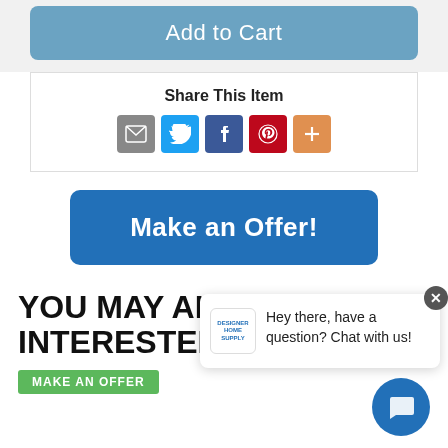[Figure (screenshot): Add to Cart button with steelblue background in a light gray section]
Share This Item
[Figure (infographic): Social share icons: email (gray), Twitter (blue), Facebook (dark blue), Pinterest (red), More (orange)]
[Figure (screenshot): Make an Offer! button with dark blue background and rounded corners]
YOU MAY ALSO BE INTERESTED IN
[Figure (screenshot): Chat popup: Designer Home Supply logo, text 'Hey there, have a question? Chat with us!']
MAKE AN OFFER